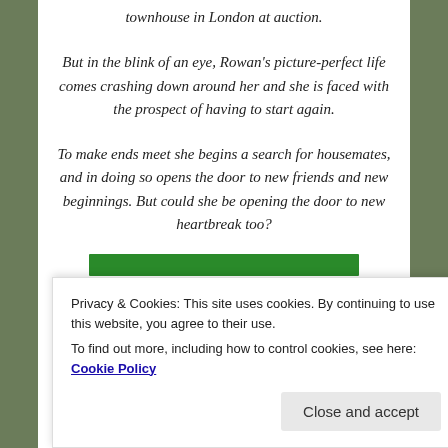townhouse in London at auction.
But in the blink of an eye, Rowan's picture-perfect life comes crashing down around her and she is faced with the prospect of having to start again.
To make ends meet she begins a search for housemates, and in doing so opens the door to new friends and new beginnings. But could she be opening the door to new heartbreak too?
[Figure (other): Green advertisement banner]
REPORT THIS AD
Privacy & Cookies: This site uses cookies. By continuing to use this website, you agree to their use.
To find out more, including how to control cookies, see here: Cookie Policy